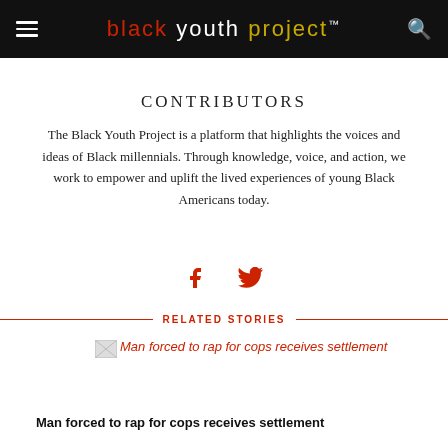black youth project™
CONTRIBUTORS
The Black Youth Project is a platform that highlights the voices and ideas of Black millennials. Through knowledge, voice, and action, we work to empower and uplift the lived experiences of young Black Americans today.
[Figure (infographic): Facebook and Twitter social media icons in red]
RELATED STORIES
[Figure (photo): Broken image placeholder for story thumbnail]
Man forced to rap for cops receives settlement
Man forced to rap for cops receives settlement